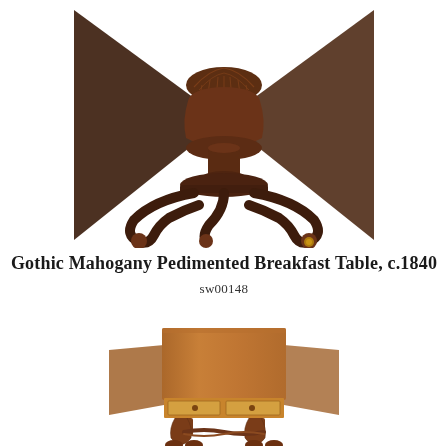[Figure (photo): Close-up photograph of the ornate pedestal base of a Gothic mahogany breakfast table, c.1840, showing a carved urn-shaped column with fluted decoration, scrolled cabriole legs, and brass caster details, viewed from above with the folded table top visible at the edges.]
Gothic Mahogany Pedimented Breakfast Table, c.1840
sw00148
[Figure (photo): Full photograph of a Gothic mahogany drop-leaf breakfast table, c.1840, showing a rectangular top with two drop leaves, two drawers with light wood fronts and small knob pulls, supported by twin lyre-shaped pedestals connected by a twisted stretcher, on bun feet.]